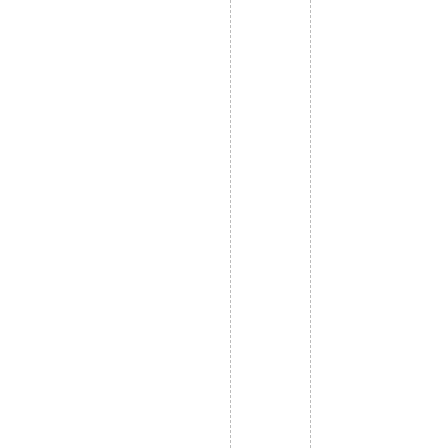ures, including dark money.
Estab